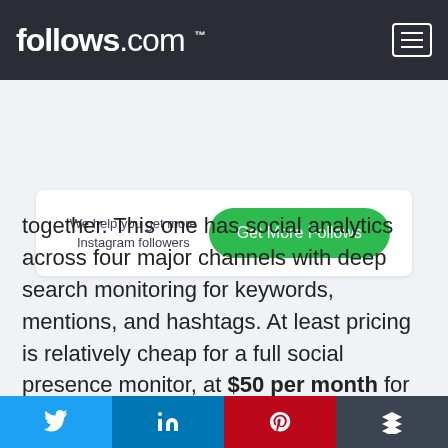follows.com™
We help you get more Instagram followers
Get More Follows
together. This one has social analytics across four major channels with deep search monitoring for keywords, mentions, and hashtags. At least pricing is relatively cheap for a full social presence monitor, at $50 per month for up to four channels.
[Figure (infographic): Social share buttons: Twitter, LinkedIn, Pinterest, Buffer]